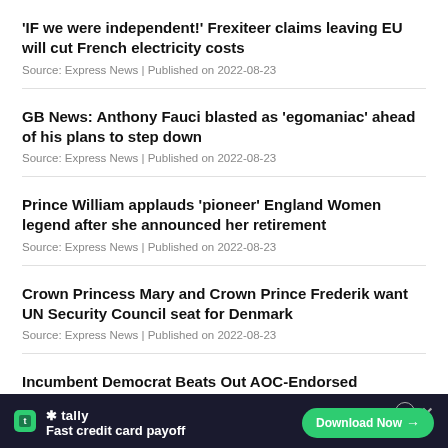'IF we were independent!' Frexiteer claims leaving EU will cut French electricity costs
Source: Express News | Published on 2022-08-23
GB News: Anthony Fauci blasted as 'egomaniac' ahead of his plans to step down
Source: Express News | Published on 2022-08-23
Prince William applauds 'pioneer' England Women legend after she announced her retirement
Source: Express News | Published on 2022-08-23
Crown Princess Mary and Crown Prince Frederik want UN Security Council seat for Denmark
Source: Express News | Published on 2022-08-23
Incumbent Democrat Beats Out AOC-Endorsed Opponent In New York Primary Race
Source: Express News | Published on 2022-08-23
[Figure (screenshot): Tally app advertisement banner: Fast credit card payoff. Download Now button.]